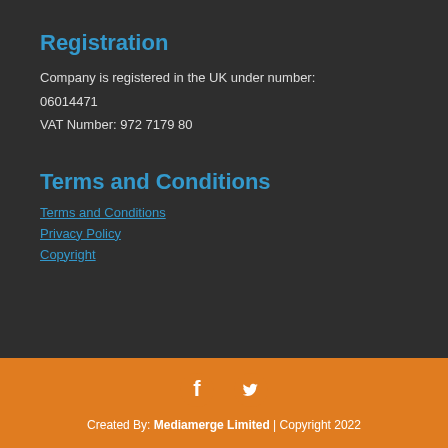Registration
Company is registered in the UK under number:
06014471
VAT Number: 972 7179 80
Terms and Conditions
Terms and Conditions
Privacy Policy
Copyright
[Figure (other): Social media icons: Facebook and Twitter]
Created By: Mediamerge Limited | Copyright 2022